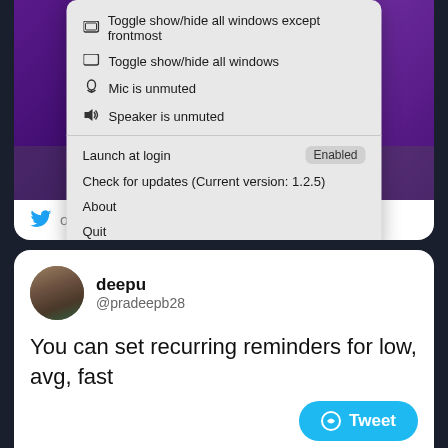[Figure (screenshot): macOS app menu popup showing toggle options, mic/speaker status, launch at login (Enabled), check for updates, about, quit — over a purple desktop background with dock icons]
on Apr 3
deepu @pradeepb28
You can set recurring reminders for low, avg, fast
#buildinpublic #Ethereum #indiedev